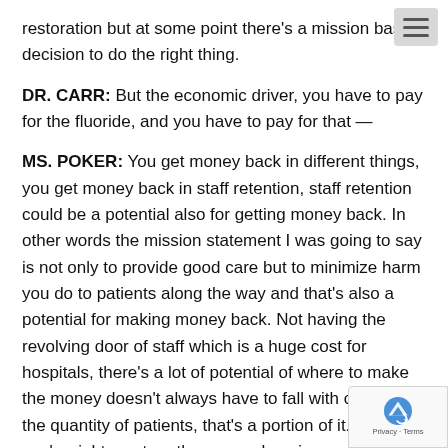restoration but at some point there's a mission based decision to do the right thing.
DR. CARR: But the economic driver, you have to pay for the fluoride, and you have to pay for that —
MS. POKER: You get money back in different things, you get money back in staff retention, staff retention could be a potential also for getting money back. In other words the mission statement I was going to say is not only to provide good care but to minimize harm you do to patients along the way and that's also a potential for making money back. Not having the revolving door of staff which is a huge cost for hospitals, there's a lot of potential of where to make the money doesn't always have to fall with claims or the quantity of patients, that's a portion of it. But you're right, capture the comprehensive care that we give is one of the places we don't make enough money. Sorry I went out of line, I